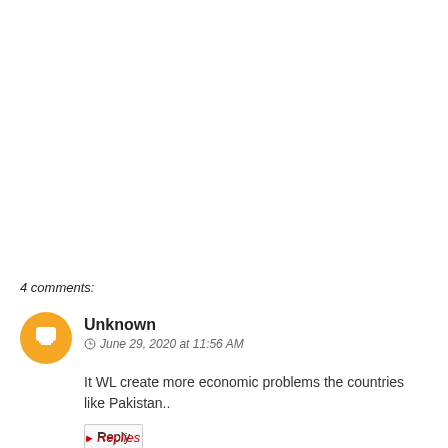4 comments:
Unknown
June 29, 2020 at 11:56 AM
It WL create more economic problems the countries like Pakistan..
Reply
Replies